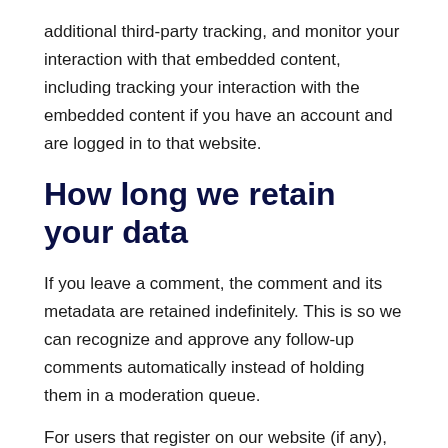additional third-party tracking, and monitor your interaction with that embedded content, including tracking your interaction with the embedded content if you have an account and are logged in to that website.
How long we retain your data
If you leave a comment, the comment and its metadata are retained indefinitely. This is so we can recognize and approve any follow-up comments automatically instead of holding them in a moderation queue.
For users that register on our website (if any), we also store the personal information they provide in their user profile. All users can see, edit, or delete their personal information at any time